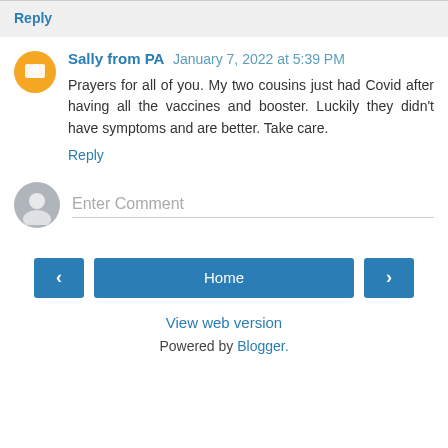Reply
Sally from PA  January 7, 2022 at 5:39 PM
Prayers for all of you. My two cousins just had Covid after having all the vaccines and booster. Luckily they didn't have symptoms and are better. Take care.
Reply
Enter Comment
Home
View web version
Powered by Blogger.